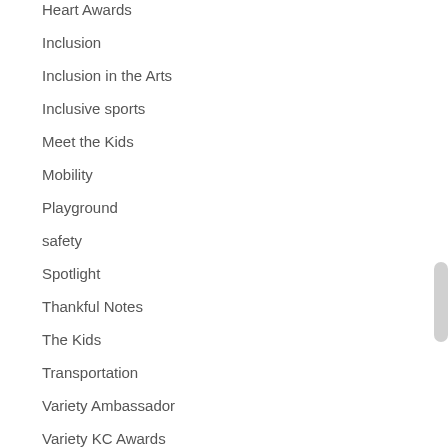Heart Awards
Inclusion
Inclusion in the Arts
Inclusive sports
Meet the Kids
Mobility
Playground
safety
Spotlight
Thankful Notes
The Kids
Transportation
Variety Ambassador
Variety KC Awards
Variety Parents